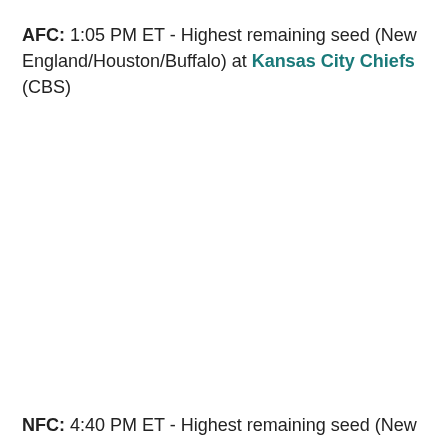AFC: 1:05 PM ET - Highest remaining seed (New England/Houston/Buffalo) at Kansas City Chiefs (CBS)
NFC: 4:40 PM ET - Highest remaining seed (New